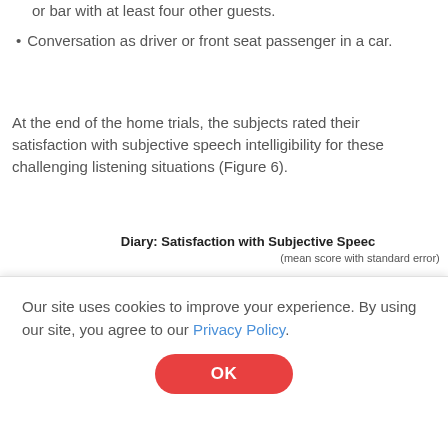or bar with at least four other guests.
Conversation as driver or front seat passenger in a car.
At the end of the home trials, the subjects rated their satisfaction with subjective speech intelligibility for these challenging listening situations (Figure 6).
[Figure (bar-chart): Partially visible grouped bar chart showing satisfaction scores with and without binaural features. Y-axis label: satisfied. Legend: blue = without binaural features, red = with binaural features. A red bar is visible in the center with error bar, and a blue bar is partially visible on the right edge.]
Our site uses cookies to improve your experience. By using our site, you agree to our Privacy Policy.